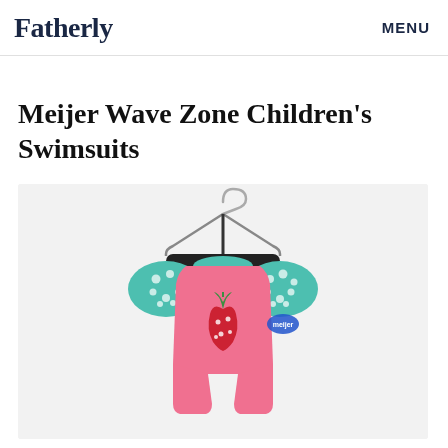Fatherly   MENU
Meijer Wave Zone Children's Swimsuits
[Figure (photo): A pink children's one-piece swimsuit with teal/mint polka-dot short sleeves and a strawberry appliqué on the front, displayed on a black hanger against a white background. A blue price tag is visible on the right side.]